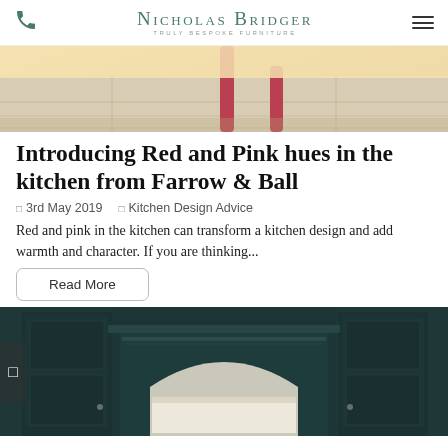Nicholas Bridger – Truly Bespoke Furniture
[Figure (photo): Top portion of a kitchen scene showing tiled floor and red/pink painted furniture legs on light stone tiles — warm tones, natural light from above.]
Introducing Red and Pink hues in the kitchen from Farrow & Ball
3rd May 2019   Kitchen Design Advice
Red and pink in the kitchen can transform a kitchen design and add warmth and character. If you are thinking...
Read More
[Figure (photo): Dark navy/teal painted bespoke kitchen cabinetry with a larder unit featuring an arched display area and flanking tall cabinets — detailed joinery and mouldings visible.]